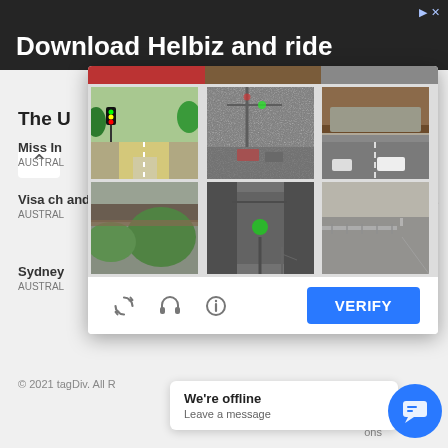[Figure (screenshot): Advertisement banner: 'Download Helbiz and ride' with dark background and ad close icon]
[Figure (screenshot): CAPTCHA modal with 3x2 grid of street view images showing traffic lights and road scenes. Bottom bar has refresh, audio, info icons and a blue VERIFY button.]
The U
Miss In
AUSTRAL
Visa ch and ou
AUSTRAL
Sydney
AUSTRAL
© 2021 tagDiv. All R
We're offline
Leave a message
ralia
ain
sp
ons